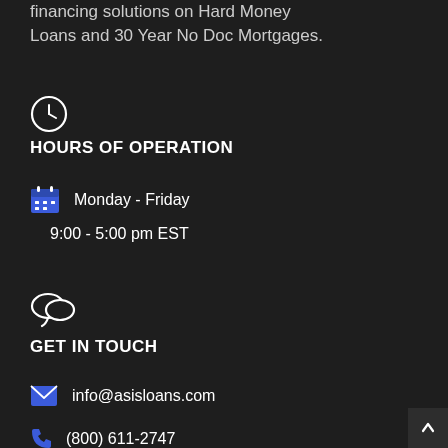financing solutions on Hard Money Loans and 30 Year No Doc Mortgages.
[Figure (illustration): Clock icon (circle with clock hands)]
HOURS OF OPERATION
Monday - Friday
9:00 - 5:00 pm EST
[Figure (illustration): Chat bubbles icon]
GET IN TOUCH
info@asisloans.com
(800) 611-2747